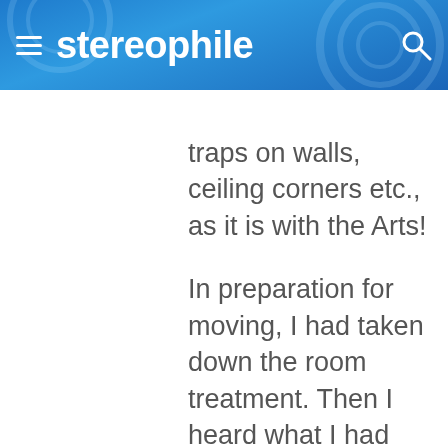stereophile
traps on walls, ceiling corners etc., as it is with the Arts!

In preparation for moving, I had taken down the room treatment. Then I heard what I had been missing for years! I was actually right about the "musicality". Even though things were